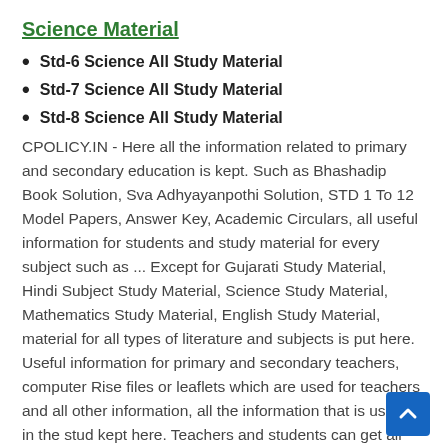Science Material
Std-6 Science All Study Material
Std-7 Science All Study Material
Std-8 Science All Study Material
CPOLICY.IN - Here all the information related to primary and secondary education is kept. Such as Bhashadip Book Solution, Sva Adhyayanpothi Solution, STD 1 To 12 Model Papers, Answer Key, Academic Circulars, all useful information for students and study material for every subject such as ... Except for Gujarati Study Material, Hindi Subject Study Material, Science Study Material, Mathematics Study Material, English Study Material, material for all types of literature and subjects is put here. Useful information for primary and secondary teachers, computer Rise files or leaflets which are used for teachers and all other information, all the information that is useful in the stud kept here. Teachers and students can get all the information